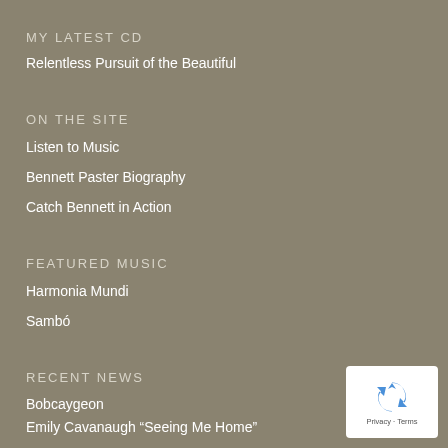MY LATEST CD
Relentless Pursuit of the Beautiful
ON THE SITE
Listen to Music
Bennett Paster Biography
Catch Bennett in Action
FEATURED MUSIC
Harmonia Mundi
Sambó
RECENT NEWS
Bobcaygeon
Emily Cavanaugh “Seeing Me Home”
Wash & Dry Studio: Winter 2021-2 Update
[Figure (logo): reCAPTCHA badge with recycle-style logo and Privacy - Terms text]